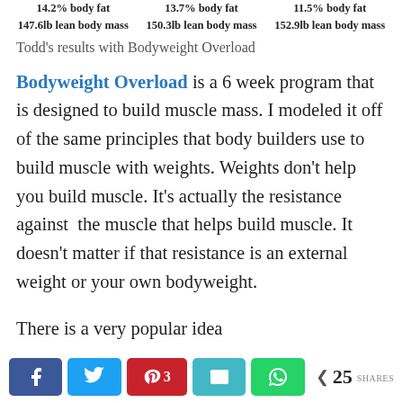14.2% body fat
147.6lb lean body mass   13.7% body fat   150.3lb lean body mass   11.5% body fat   152.9lb lean body mass
Todd's results with Bodyweight Overload
Bodyweight Overload is a 6 week program that is designed to build muscle mass. I modeled it off of the same principles that body builders use to build muscle with weights. Weights don't help you build muscle. It's actually the resistance against the muscle that helps build muscle. It doesn't matter if that resistance is an external weight or your own bodyweight.
There is a very popular idea
[Figure (infographic): Social sharing bar with Facebook, Twitter, Pinterest (3), Email, WhatsApp buttons and 25 SHARES count]